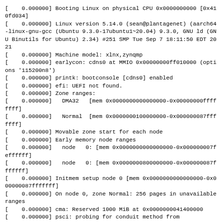[    0.000000] Booting Linux on physical CPU 0x0000000000 [0x410fd034]
[    0.000000] Linux version 5.14.0 (sean@plantagenet) (aarch64-linux-gnu-gcc (Ubuntu 9.3.0-17ubuntu1~20.04) 9.3.0, GNU ld (GNU Binutils for Ubuntu) 2.34) #251 SMP Tue Sep 7 18:11:50 EDT 2021
[    0.000000] Machine model: xlnx,zynqmp
[    0.000000] earlycon: cdns0 at MMIO 0x00000000ff010000 (options '115200n8')
[    0.000000] printk: bootconsole [cdns0] enabled
[    0.000000] efi: UEFI not found.
[    0.000000] Zone ranges:
[    0.000000]   DMA32   [mem 0x0000000000000000-0x00000000ffffffff]
[    0.000000]   Normal  [mem 0x0000000100000000-0x000000087fffffff]
[    0.000000] Movable zone start for each node
[    0.000000] Early memory node ranges
[    0.000000]   node   0: [mem 0x0000000000000000-0x000000007feffffff]
[    0.000000]   node   0: [mem 0x0000000800000000-0x000000087fffffff]
[    0.000000] Initmem setup node 0 [mem 0x0000000000000000-0x000000087fffffff]
[    0.000000] On node 0, zone Normal: 256 pages in unavailable ranges
[    0.000000] cma: Reserved 1000 MiB at 0x0000000041400000
[    0.000000] psci: probing for conduit method from